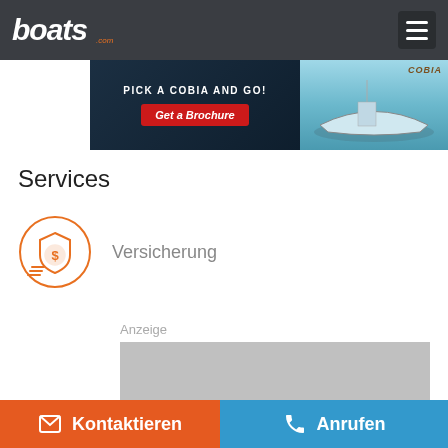[Figure (logo): boats.com logo in white italic bold font on dark gray header bar]
[Figure (screenshot): Hamburger menu icon (three horizontal lines) in dark box on right of header]
[Figure (photo): Cobia boat advertisement banner: 'PICK A COBIA AND GO!' with red 'Get a Brochure' button on left, boat photo on right]
Services
[Figure (illustration): Orange circle icon with a shield and dollar coin symbol representing insurance]
Versicherung
Anzeige
[Figure (other): Gray placeholder box for advertisement]
Kontaktieren
Anrufen